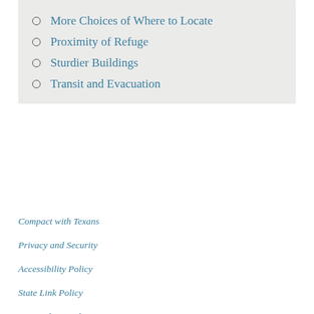More Choices of Where to Locate
Proximity of Refuge
Sturdier Buildings
Transit and Evacuation
Compact with Texans
Privacy and Security
Accessibility Policy
State Link Policy
Statewide Search
Equal Opportunity
Veterans Benefits